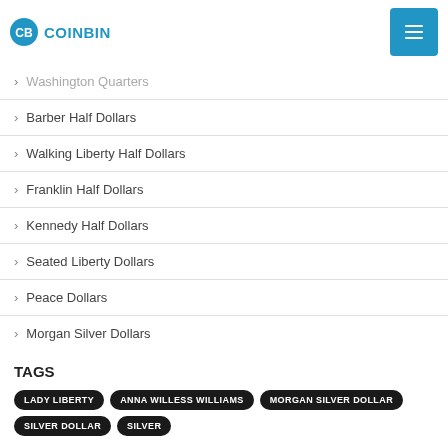COINBIN
Washington Quarters
Barber Half Dollars
Walking Liberty Half Dollars
Franklin Half Dollars
Kennedy Half Dollars
Seated Liberty Dollars
Peace Dollars
Morgan Silver Dollars
TAGS
LADY LIBERTY
ANNA WILLESS WILLIAMS
MORGAN SILVER DOLLAR
SILVER DOLLAR
SILVER